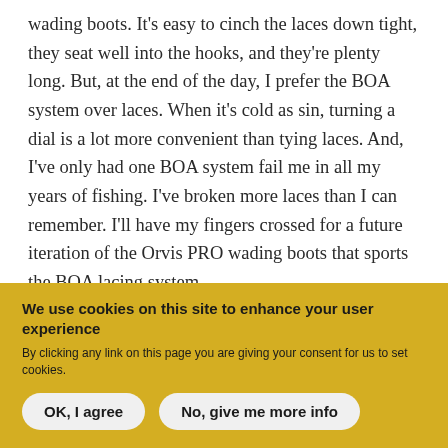wading boots. It's easy to cinch the laces down tight, they seat well into the hooks, and they're plenty long. But, at the end of the day, I prefer the BOA system over laces. When it's cold as sin, turning a dial is a lot more convenient than tying laces. And, I've only had one BOA system fail me in all my years of fishing. I've broken more laces than I can remember. I'll have my fingers crossed for a future iteration of the Orvis PRO wading boots that sports the BOA lacing system.
We use cookies on this site to enhance your user experience
By clicking any link on this page you are giving your consent for us to set cookies.
OK, I agree
No, give me more info